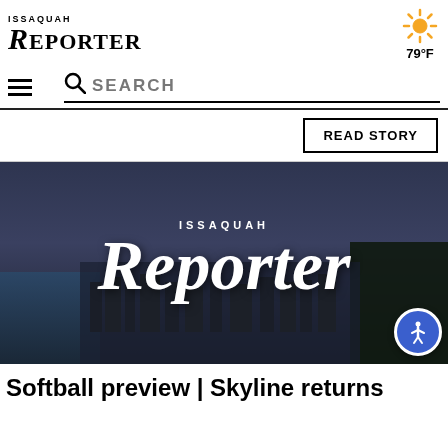ISSAQUAH REPORTER
79°F
SEARCH
READ STORY
[Figure (photo): Aerial view of Issaquah city with the Issaquah Reporter logo overlaid in white serif text on a dark evening cityscape background]
Softball preview | Skyline returns